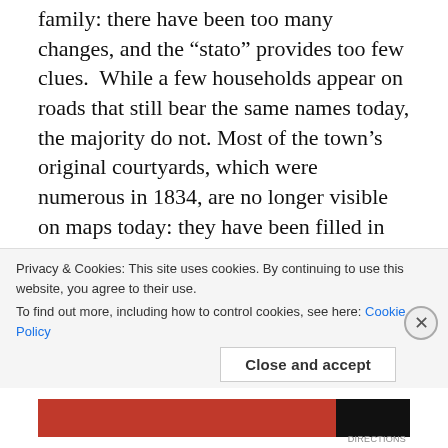family: there have been too many changes, and the “stato” provides too few clues. While a few households appear on roads that still bear the same names today, the majority do not. Most of the town’s original courtyards, which were numerous in 1834, are no longer visible on maps today: they have been filled in with more houses.
From one census to the next, landmarks are renamed or disappear, people marry and die, and families move. Some of the “stati” are mislabeled as to the year they were taken: one labeled “1848” on FamilySearch appears to have been taken
Privacy & Cookies: This site uses cookies. By continuing to use this website, you agree to their use.
To find out more, including how to control cookies, see here: Cookie Policy
Close and accept